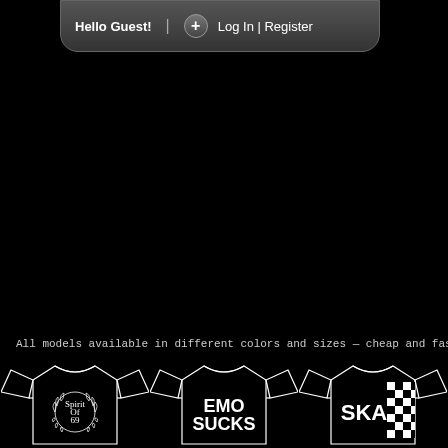Hello Guest! | Log In | Register
All models available in different colors and sizes — cheap and fast ship
[Figure (illustration): Three black t-shirts displayed side by side. Left shirt has a wreath logo with 'Spirit Of 69' text. Middle shirt reads 'EMO SUCKS' in bold white text. Right shirt has a black and white checkerboard pattern with 'SKA' text.]